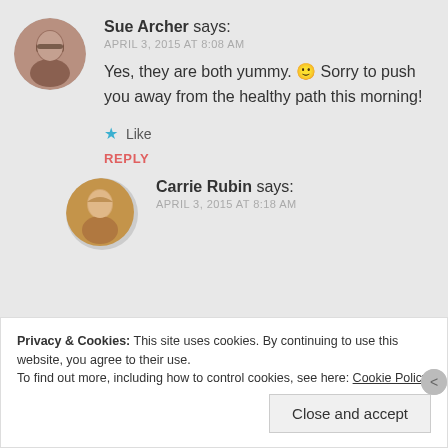Sue Archer says: APRIL 3, 2015 AT 8:08 AM
Yes, they are both yummy. 🙂 Sorry to push you away from the healthy path this morning!
Like
REPLY
Carrie Rubin says: APRIL 3, 2015 AT 8:18 AM
Privacy & Cookies: This site uses cookies. By continuing to use this website, you agree to their use. To find out more, including how to control cookies, see here: Cookie Policy
Close and accept